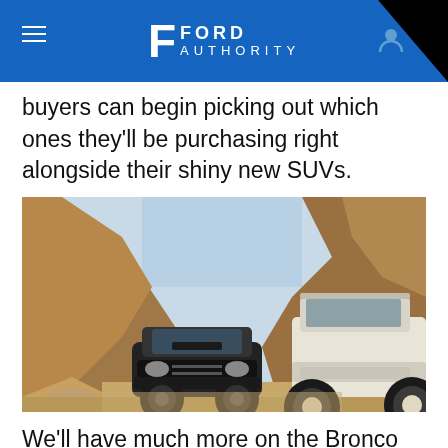Ford Authority (navigation header)
buyers can begin picking out which ones they'll be purchasing right alongside their shiny new SUVs.
[Figure (photo): Two Ford Bronco SUVs side by side in a rocky desert canyon — a dark modern Bronco on the left and a vintage white Bronco on the right, both with large off-road tires.]
We'll have much more on the Bronco and its many accessories in the coming days, so be sure to subscribe to Ford Authority for more Ford Bronco news and continuous Ford news coverage.